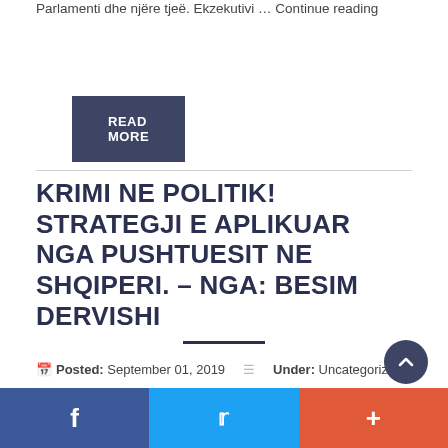Parlamenti dhe njëre tjeë. Ekzekutivi ... Continue reading
READ MORE
KRIMI NE POLITIK! STRATEGJI E APLIKUAR NGA PUSHTUESIT NE SHQIPERI. – NGA: BESIM DERVISHI
Posted: September 01, 2019   Under: Uncategorized
By besimal   No Comments